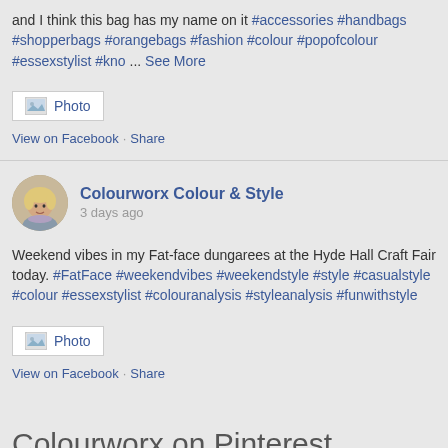and I think this bag has my name on it #accessories #handbags #shopperbags #orangebags #fashion #colour #popofcolour #essexstylist #kno ... See More
[Figure (screenshot): Photo button with image icon]
View on Facebook · Share
[Figure (photo): Circular profile avatar of a woman with blonde hair]
Colourworx Colour & Style
3 days ago
Weekend vibes in my Fat-face dungarees at the Hyde Hall Craft Fair today. #FatFace #weekendvibes #weekendstyle #style #casualstyle #colour #essexstylist #colouranalysis #styleanalysis #funwithstyle
[Figure (screenshot): Photo button with image icon]
View on Facebook · Share
Colourworx on Pinterest